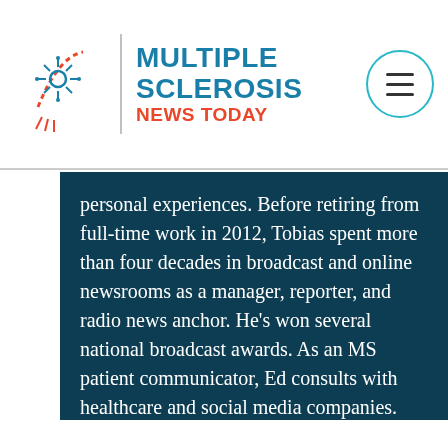Multiple Sclerosis News Today
personal experiences. Before retiring from full-time work in 2012, Tobias spent more than four decades in broadcast and online newsrooms as a manager, reporter, and radio news anchor. He's won several national broadcast awards. As an MS patient communicator, Ed consults with healthcare and social media companies. He's the author of “The Multiple Sclerosis Toolbox...Tools and Tips for Living With MS.” Ed and his wife split time between Washington, D.C. suburbs and Florida's Coast.